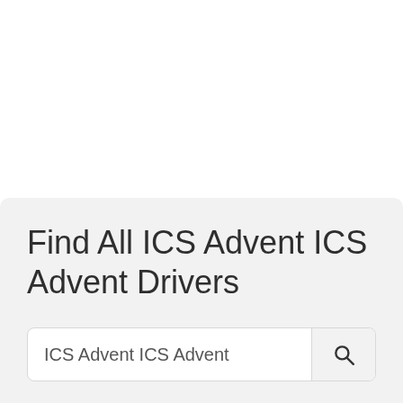Find All ICS Advent ICS Advent Drivers
ICS Advent ICS Advent